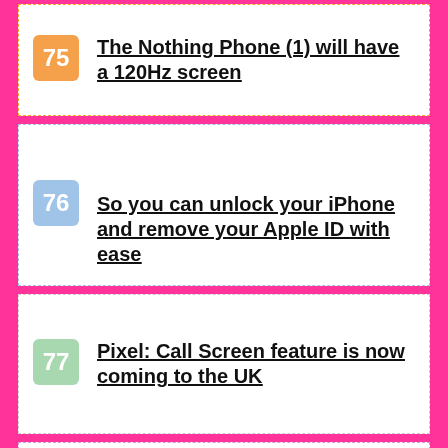75 The Nothing Phone (1) will have a 120Hz screen
76 So you can unlock your iPhone and remove your Apple ID with ease
77 Pixel: Call Screen feature is now coming to the UK
78 WhatsApp: how to transfer chats from iPhone to a Samsung